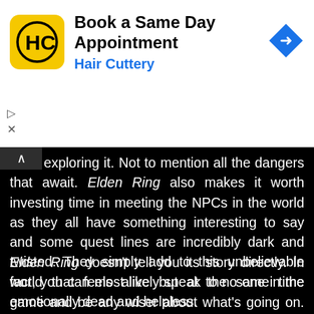[Figure (screenshot): Hair Cuttery advertisement banner with logo, 'Book a Same Day Appointment' title, blue subtitle 'Hair Cuttery', and blue diamond navigation arrow icon]
spend exploring it. Not to mention all the dangers that await. Elden Ring also makes it worth investing time in meeting the NPCs in the world as they all have something interesting to say and some quest lines are incredibly dark and twisted. They simply add to this unbelievable world that feels alive but at the same time emotionally dead and helpless.
Elden Ring doesn't tell you its story directly. In fact, you can most likely speak to no one in the game and be any wiser about what's going on. Like past FromSoftware games, the